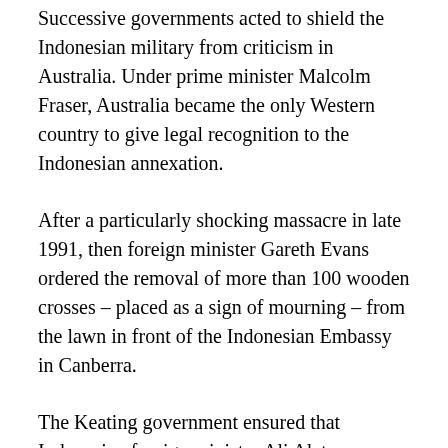Successive governments acted to shield the Indonesian military from criticism in Australia. Under prime minister Malcolm Fraser, Australia became the only Western country to give legal recognition to the Indonesian annexation.
After a particularly shocking massacre in late 1991, then foreign minister Gareth Evans ordered the removal of more than 100 wooden crosses – placed as a sign of mourning – from the lawn in front of the Indonesian Embassy in Canberra.
The Keating government ensured that Indonesian foreign minister Ali Alatas received the award of the Order of Australia in 1995. Not to be outdone, Tim Fischer, deputy prime minister in the Howard government, said that Indonesian president Suharto was “perhaps the world’s greatest figure in the latter half of the 20th century”.